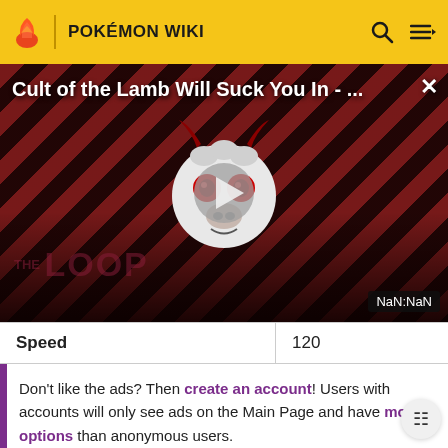POKÉMON WIKI
[Figure (screenshot): Video player showing 'Cult of the Lamb Will Suck You In - ...' with a cartoon mascot, play button overlay, THE LOOP watermark, and NaN:NaN timer. Dark red diagonal stripe background.]
| Speed | 120 |
Don't like the ads? Then create an account! Users with accounts will only see ads on the Main Page and have more options than anonymous users.